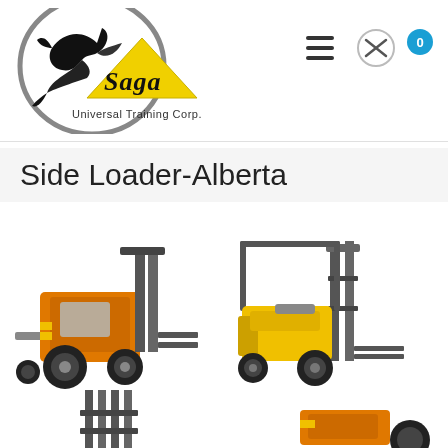[Figure (logo): Saga Universal Training Corp. logo — dragon silhouette in a grey circle with yellow triangle, company name in stylized script]
[Figure (infographic): Navigation bar icons: hamburger menu, user icon in circle, cart badge showing 0]
Side Loader-Alberta
[Figure (photo): Large orange/yellow heavy-duty forklift (large industrial side loader) facing right with forks extended]
[Figure (photo): Smaller yellow forklift facing right with tall mast]
[Figure (photo): Partial view of forklift forks at bottom left]
[Figure (photo): Partial view of orange/yellow forklift at bottom right]